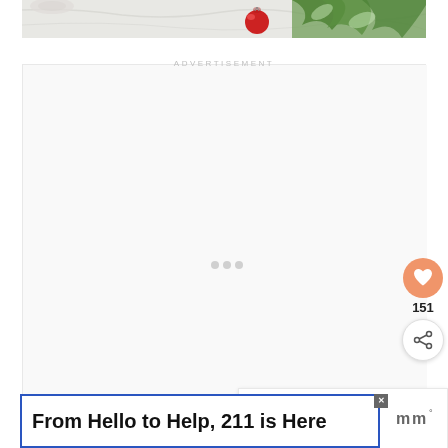[Figure (photo): Top portion of a Christmas-themed photo showing marble surface, greenery (leaves), a red ornament ball, and green leaf-patterned wrapping paper or fabric]
ADVERTISEMENT
[Figure (infographic): Empty advertisement placeholder box with light gray background and three small dots in the center]
[Figure (infographic): Heart/save button (orange circle with heart icon) showing 151 saves, and a share button below]
[Figure (infographic): WHAT'S NEXT panel showing a thumbnail of a wooden clipboard and the text 'Christmas Clipboard...']
From Hello to Help, 211 is Here